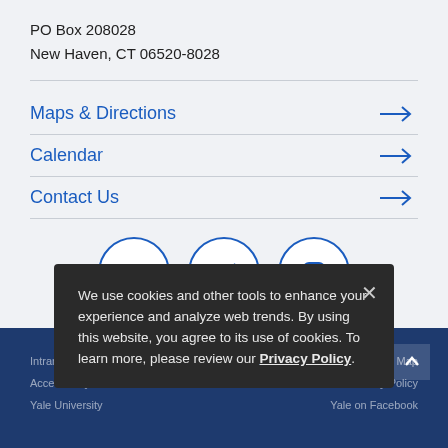PO Box 208028
New Haven, CT 06520-8028
Maps & Directions →
Calendar →
Contact Us →
[Figure (illustration): Three social media icons in circles: Facebook (f), Twitter (bird), Instagram (camera)]
We use cookies and other tools to enhance your experience and analyze web trends. By using this website, you agree to its use of cookies. To learn more, please review our Privacy Policy.
Intranet  Site Map  Accessibility at YSM  Terms & Privacy Policy  Yale University  Yale on Facebook